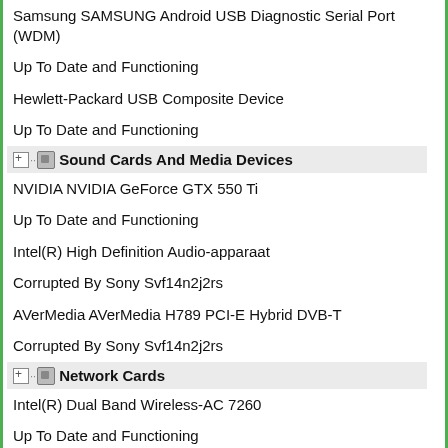Samsung SAMSUNG Android USB Diagnostic Serial Port (WDM)
Up To Date and Functioning
Hewlett-Packard USB Composite Device
Up To Date and Functioning
Sound Cards And Media Devices
NVIDIA NVIDIA GeForce GTX 550 Ti
Up To Date and Functioning
Intel(R) High Definition Audio-apparaat
Corrupted By Sony Svf14n2j2rs
AVerMedia AVerMedia H789 PCI-E Hybrid DVB-T
Corrupted By Sony Svf14n2j2rs
Network Cards
Intel(R) Dual Band Wireless-AC 7260
Up To Date and Functioning